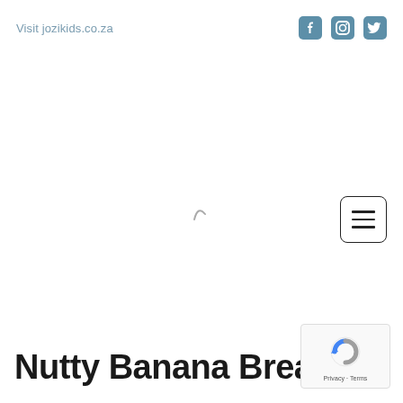Visit jozikids.co.za
[Figure (screenshot): Loading spinner icon (partial arc) in the center of the page]
[Figure (other): Hamburger menu button with three horizontal lines, rounded rectangle border]
Nutty Banana Bread
[Figure (other): reCAPTCHA badge with Google reCAPTCHA logo and Privacy - Terms text]